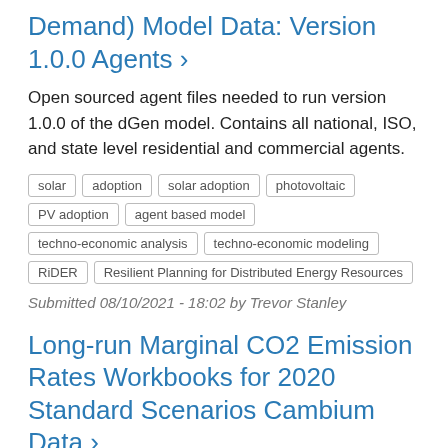Demand) Model Data: Version 1.0.0 Agents ›
Open sourced agent files needed to run version 1.0.0 of the dGen model. Contains all national, ISO, and state level residential and commercial agents.
solar
adoption
solar adoption
photovoltaic
PV adoption
agent based model
techno-economic analysis
techno-economic modeling
RiDER
Resilient Planning for Distributed Energy Resources
Submitted 08/10/2021 - 18:02 by Trevor Stanley
Long-run Marginal CO2 Emission Rates Workbooks for 2020 Standard Scenarios Cambium Data ›
This dataset has been superseded by a new set of workbooks that can be found here: